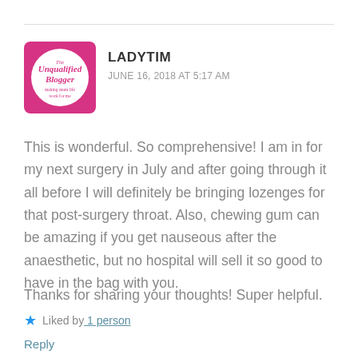[Figure (logo): The Unqualified Blogger logo — pink square background with white circle containing pink italic text]
LADYTIM
JUNE 16, 2018 AT 5:17 AM
This is wonderful. So comprehensive! I am in for my next surgery in July and after going through it all before I will definitely be bringing lozenges for that post-surgery throat. Also, chewing gum can be amazing if you get nauseous after the anaesthetic, but no hospital will sell it so good to have in the bag with you.
Thanks for sharing your thoughts! Super helpful.
★ Liked by 1 person
Reply